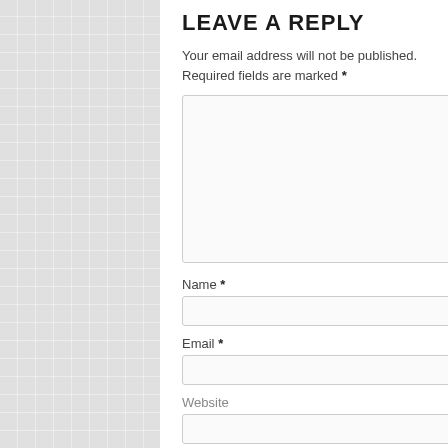LEAVE A REPLY
Your email address will not be published. Required fields are marked *
Name *
Email *
Website
Post Comment
TAGS